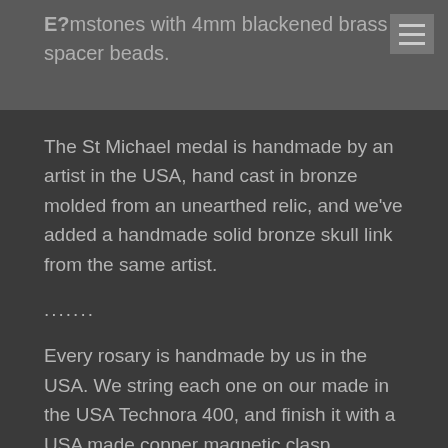E? mstones with 4mm blackened brass spacer beads.
The St Michael medal is handmade by an artist in the USA, hand cast in bronze molded from an unearthed relic, and we've added a handmade solid bronze skull link from the same artist.
.......
Every rosary is handmade by us in the USA. We string each one on our made in the USA Technora 400, and finish it with a USA made copper magnetic clasp.
.......